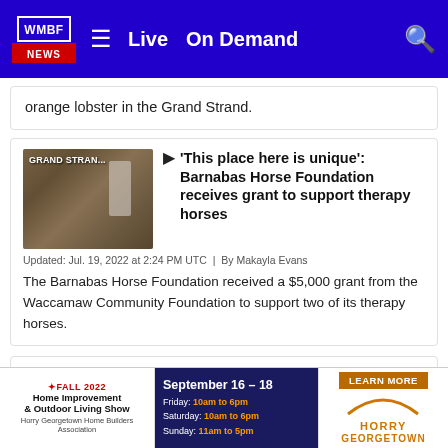WMBF NEWS | Live | On Demand
orange lobster in the Grand Strand.
'This place here is unique': Barnabas Horse Foundation receives grant to support therapy horses
Updated: Jul. 19, 2022 at 2:24 PM UTC | By Makayla Evans
The Barnabas Horse Foundation received a $5,000 grant from the Waccamaw Community Foundation to support two of its therapy horses.
Myrtle Beach Fire Department looking to para...
[Figure (screenshot): Advertisement banner: Fall 2022 Home Improvement & Outdoor Living Show, September 16-18, Horry Georgetown Home Builders Association. Friday 10am-6pm, Saturday 10am-6pm, Sunday 11am-5pm. Learn More button. Horry Georgetown logo.]